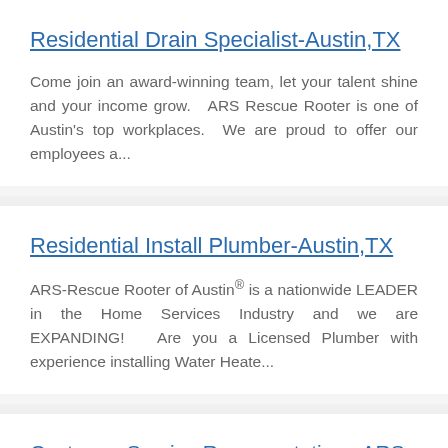Residential Drain Specialist-Austin,TX
Come join an award-winning team, let your talent shine and your income grow.   ARS Rescue Rooter is one of Austin's top workplaces.  We are proud to offer our employees a...
Residential Install Plumber-Austin,TX
ARS-Rescue Rooter of Austin® is a nationwide LEADER in the Home Services Industry and we are EXPANDING!   Are you a Licensed Plumber with experience installing Water Heate...
Customer Service Representative - ARS of Colorado
GROW WITH THE PROS AND ENJOY REAL STABILITY   Only the best of the best work for the largest and fastest-growing leader in residential services: ARS-Rescue Rooter®. Uniqu...